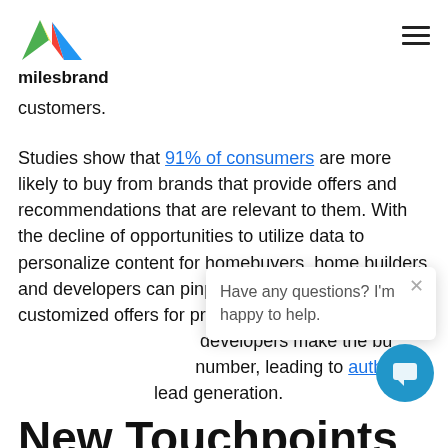milesbrand
customers.
Studies show that 91% of consumers are more likely to buy from brands that provide offers and recommendations that are relevant to them. With the decline of opportunities to utilize data to personalize content for homebuyers, home builders and developers can pinpoint new ways to create customized offers for prospective buyers. By doing so, home builders and developers make the buying process unique to the number, leading to authentic connections and lead generation.
[Figure (screenshot): Chat popup overlay with text 'Have any questions? I'm happy to help.' and a close X button, and a blue chat button icon]
New Touchpoints
Today, new touchpoints are consistently emerging and